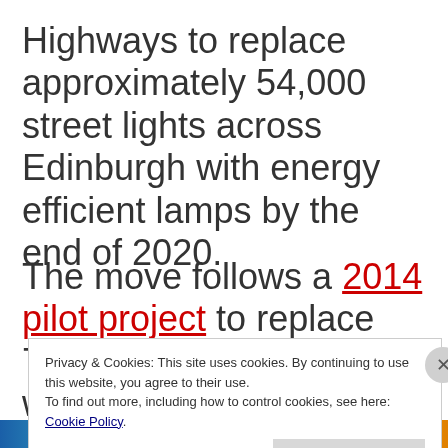Highways to replace approximately 54,000 street lights across Edinburgh with energy efficient lamps by the end of 2020.
The move follows a 2014 pilot project to replace 7000 obsolete lanterns with Light
Privacy & Cookies: This site uses cookies. By continuing to use this website, you agree to their use. To find out more, including how to control cookies, see here: Cookie Policy